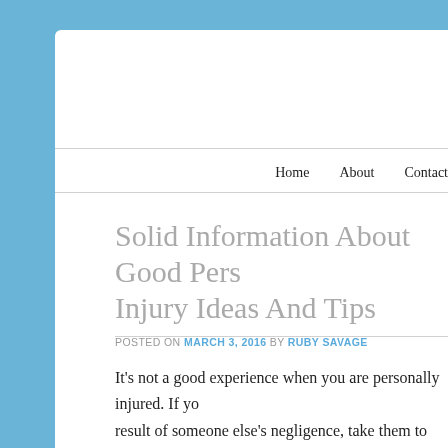Home    About    Contact
Solid Information About Good Personal Injury Ideas And Tips
POSTED ON MARCH 3, 2016 BY RUBY SAVAGE
It's not a good experience when you are personally injured. If yo… result of someone else's negligence, take them to court. No matte… can help make the world safer. For more insight and advice, read…